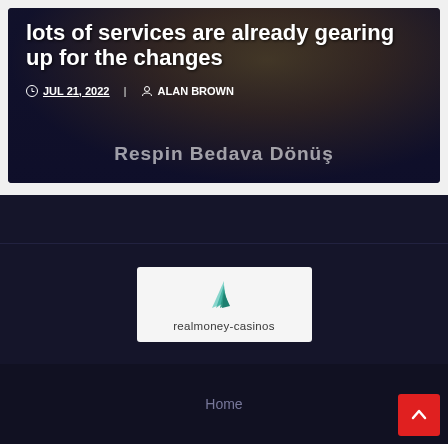lots of services are already gearing up for the changes
JUL 21, 2022  ALAN BROWN
[Figure (screenshot): Dark casino-themed banner with spins game imagery and overlaid text 'Respin Bedava Dönüş']
[Figure (logo): realmoney-casinos logo with teal layered triangle icon above the text 'realmoney-casinos']
Home